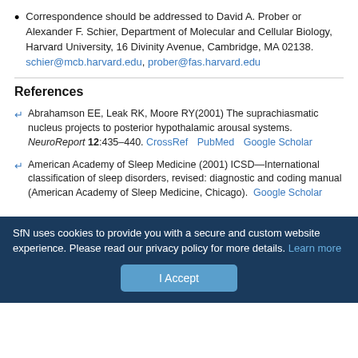Correspondence should be addressed to David A. Prober or Alexander F. Schier, Department of Molecular and Cellular Biology, Harvard University, 16 Divinity Avenue, Cambridge, MA 02138. schier@mcb.harvard.edu, prober@fas.harvard.edu
References
Abrahamson EE, Leak RK, Moore RY(2001) The suprachiasmatic nucleus projects to posterior hypothalamic arousal systems. NeuroReport 12:435–440. CrossRef PubMed Google Scholar
American Academy of Sleep Medicine (2001) ICSD—International classification of sleep disorders, revised: diagnostic and coding manual (American Academy of Sleep Medicine, Chicago). Google Scholar
SfN uses cookies to provide you with a secure and custom website experience. Please read our privacy policy for more details. Learn more